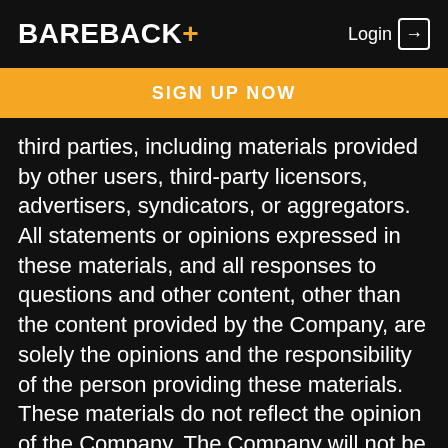BAREBACK+ Login →
SIGN UP NOW
third parties, including materials provided by other users, third-party licensors, advertisers, syndicators, or aggregators. All statements or opinions expressed in these materials, and all responses to questions and other content, other than the content provided by the Company, are solely the opinions and the responsibility of the person providing these materials. These materials do not reflect the opinion of the Company. The Company will not be liable to you or any other person for the content or accuracy of any materials provided by any third parties.